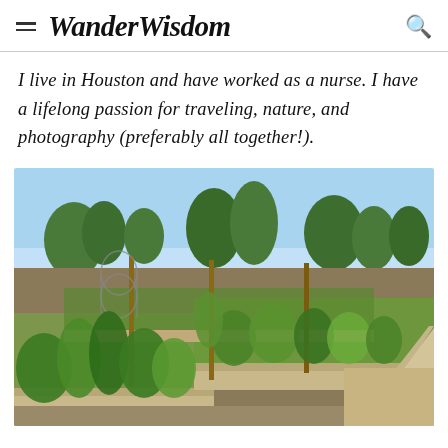WanderWisdom
I live in Houston and have worked as a nurse. I have a lifelong passion for traveling, nature, and photography (preferably all together!).
[Figure (photo): Outdoor community garden with raised stone beds filled with lush green plants, wooden stake poles, metal cage supports, trees in the background under a blue sky, and a curved stone pathway border on the right.]